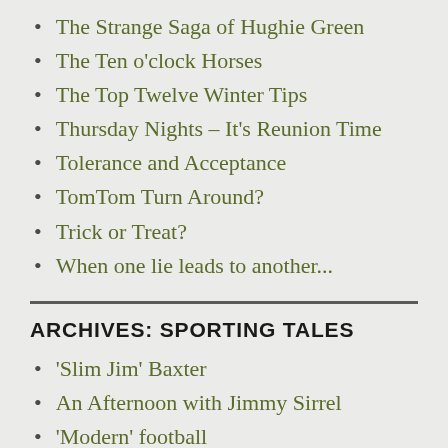The Strange Saga of Hughie Green
The Ten o'clock Horses
The Top Twelve Winter Tips
Thursday Nights – It's Reunion Time
Tolerance and Acceptance
TomTom Turn Around?
Trick or Treat?
When one lie leads to another...
ARCHIVES: SPORTING TALES
‘Slim Jim’ Baxter
An Afternoon with Jimmy Sirrel
‘Modern’ football